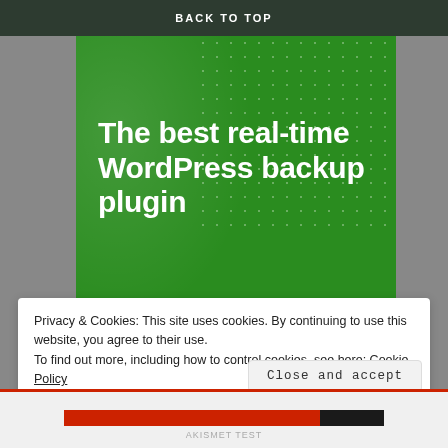BACK TO TOP
[Figure (illustration): Green promotional banner for a WordPress backup plugin with white bold text reading 'The best real-time WordPress backup plugin' and a white button labeled 'Back up your site'. The green background has a decorative dot/star pattern in the upper right corner and a light swoosh effect on the left.]
Privacy & Cookies: This site uses cookies. By continuing to use this website, you agree to their use.
To find out more, including how to control cookies, see here: Cookie Policy
Close and accept